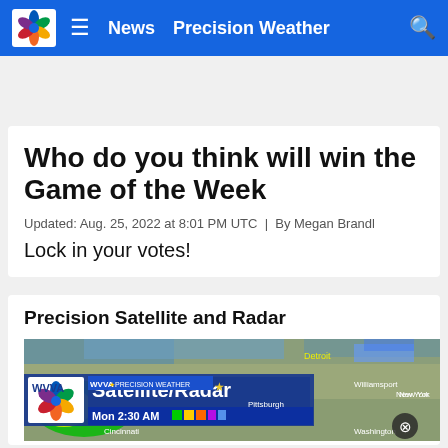WVVA | News | Precision Weather
Who do you think will win the Game of the Week
Updated: Aug. 25, 2022 at 8:01 PM UTC  |  By Megan Brandl
Lock in your votes!
Precision Satellite and Radar
[Figure (screenshot): WVVA Satellite/Radar image showing Mon 2:30 AM weather over eastern US including Detroit, Williamsport, Pittsburgh, Cincinnati, New York, Washington areas with color radar overlay]